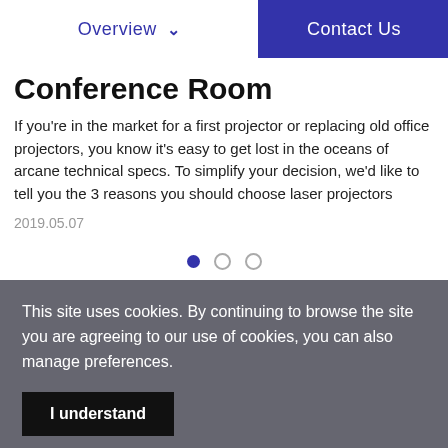Overview | Contact Us
Conference Room
If you're in the market for a first projector or replacing old office projectors, you know it's easy to get lost in the oceans of arcane technical specs. To simplify your decision, we'd like to tell you the 3 reasons you should choose laser projectors
2019.05.07
This site uses cookies. By continuing to browse the site you are agreeing to our use of cookies, you can also manage preferences.
I understand
Cookie Setting   Find More